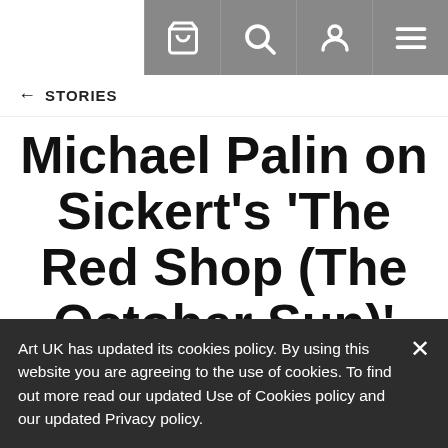Navigation bar with cart, search, user, and menu icons
← STORIES
Michael Palin on Sickert's 'The Red Shop (The October Sun)'
Posted 15 Mar 2016, by Michael Palin
Art UK has updated its cookies policy. By using this website you are agreeing to the use of cookies. To find out more read our updated Use of Cookies policy and our updated Privacy policy.